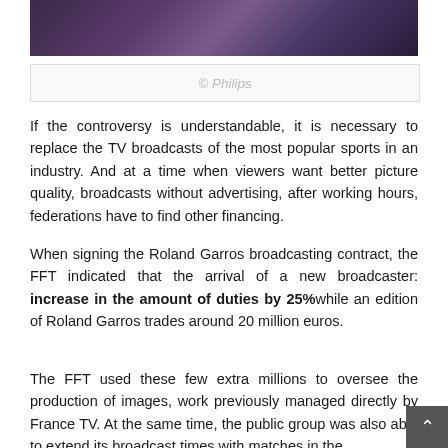[Figure (photo): Dark purple-toned interior scene photo, partially visible at top of page]
© Philips
If the controversy is understandable, it is necessary to replace the TV broadcasts of the most popular sports in an industry. And at a time when viewers want better picture quality, broadcasts without advertising, after working hours, federations have to find other financing.
When signing the Roland Garros broadcasting contract, the FFT indicated that the arrival of a new broadcaster: increase in the amount of duties by 25% while an edition of Roland Garros trades around 20 million euros.
The FFT used these few extra millions to oversee the production of images, work previously managed directly by France TV. At the same time, the public group was also able to extend its broadcast times with matches in the